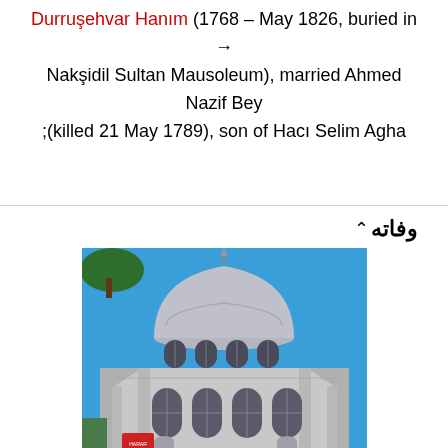Durruşehvar Hanım (1768 – May 1826, buried in Nakşidil Sultan Mausoleum), married Ahmed Nazif Bey (killed 21 May 1789), son of Hacı Selim Agha;
وفاته
[Figure (photo): Photograph of the Nakşidil Sultan Mausoleum building — an Ottoman domed mausoleum with arched windows, grey stone exterior, and a crescent finial on top of the dome, photographed against a blue sky.]